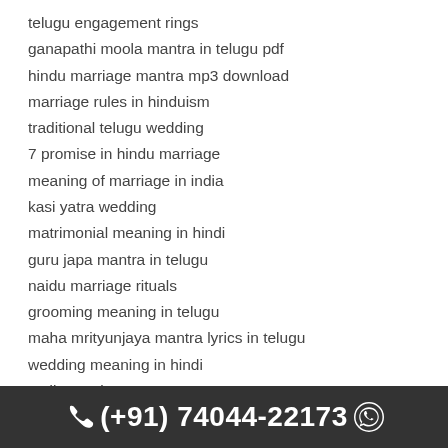telugu engagement rings
ganapathi moola mantra in telugu pdf
hindu marriage mantra mp3 download
marriage rules in hinduism
traditional telugu wedding
7 promise in hindu marriage
meaning of marriage in india
kasi yatra wedding
matrimonial meaning in hindi
guru japa mantra in telugu
naidu marriage rituals
grooming meaning in telugu
maha mrityunjaya mantra lyrics in telugu
wedding meaning in hindi
vedic marriage ceremony
vedic wedding ceremony
ganesh mantra in telugu
meaning of hindu marriage
telugu hindu wedding
(+91) 74044-22173